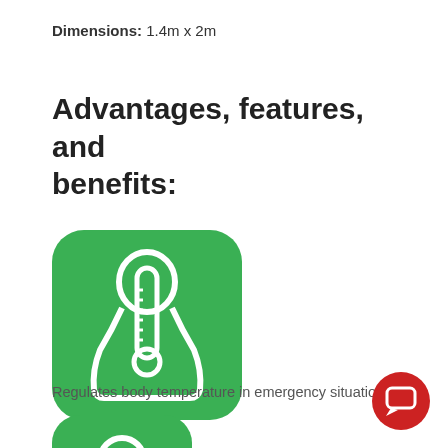Dimensions: 1.4m x 2m
Advantages, features, and benefits:
[Figure (illustration): Green rounded-square icon showing a person silhouette with a thermometer in front, representing body temperature regulation]
Regulates body temperature in emergency situations.
[Figure (illustration): Green rounded-square icon partially visible at bottom of page]
[Figure (other): Red circular chat/message button in bottom right corner]